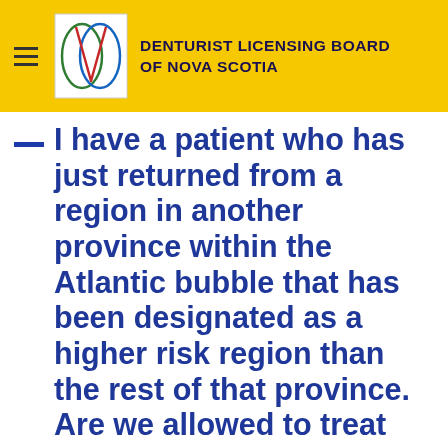Denturist Licensing Board of Nova Scotia
I have a patient who has just returned from a region in another province within the Atlantic bubble that has been designated as a higher risk region than the rest of that province. Are we allowed to treat them?
The oral health regulators take direction from the CMOH when situations such as this arise. The CMOHs in the Atlantic Provinces are in regular contact with each other. As long as